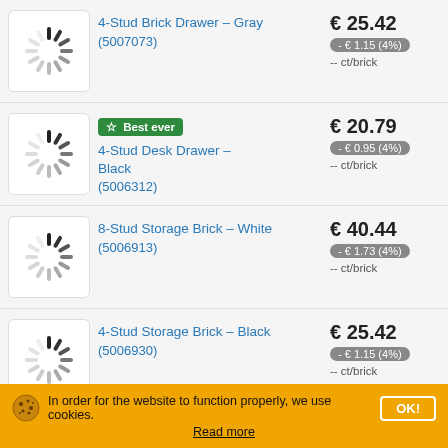4-Stud Brick Drawer – Gray (5007073) € 25.42 - € 1.15 (4%) -- ct/brick
4-Stud Desk Drawer – Black (5006312) Best ever € 20.79 - € 0.95 (4%) -- ct/brick
8-Stud Storage Brick – White (5006913) € 40.44 - € 1.73 (4%) -- ct/brick
4-Stud Storage Brick – Black (5006930) € 25.42 - € 1.15 (4%) -- ct/brick
In order for the website to function properly, we use cookies. OK! Read more